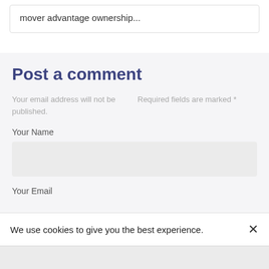mover advantage ownership...
Post a comment
Your email address will not be published.
Required fields are marked *
Your Name
Your Email
We use cookies to give you the best experience.